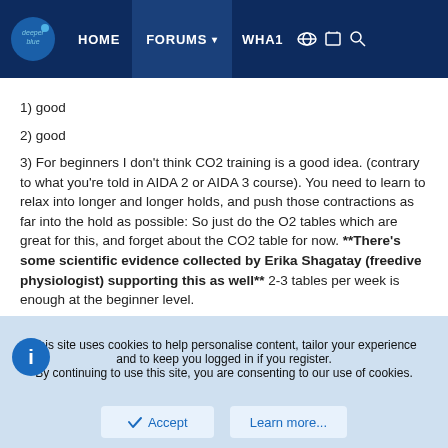deeper blue | HOME | FORUMS | WHAT
1) good
2) good
3) For beginners I don't think CO2 training is a good idea. (contrary to what you're told in AIDA 2 or AIDA 3 course). You need to learn to relax into longer and longer holds, and push those contractions as far into the hold as possible: So just do the O2 tables which are great for this, and forget about the CO2 table for now. **There's some scientific evidence collected by Erika Shagatay (freedive physiologist) supporting this as well** 2-3 tables per week is enough at the beginner level.
4) don't "test" your max every week.. You're aim should be to TRAIN, not to test. If you can make that 80% O2 table really easy, it won't be much effort.
This site uses cookies to help personalise content, tailor your experience and to keep you logged in if you register.
By continuing to use this site, you are consenting to our use of cookies.